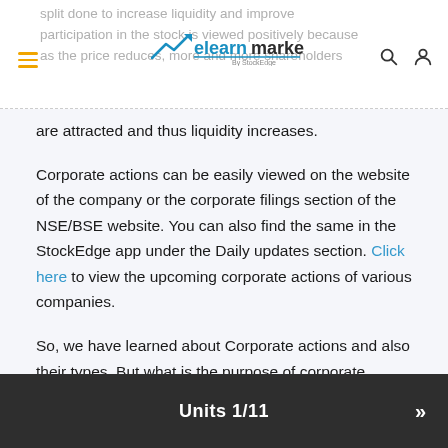split done to increase liquidity and improve participation in the stock is viewed positively because as the price reduces, more and more shareholders
are attracted and thus liquidity increases.
Corporate actions can be easily viewed on the website of the company or the corporate filings section of the NSE/BSE website. You can also find the same in the StockEdge app under the Daily updates section. Click here to view the upcoming corporate actions of various companies.
So, we have learned about Corporate actions and also their types. But what is the purpose of corporate actions? Let us discuss this in the next unit.
Units 1/11